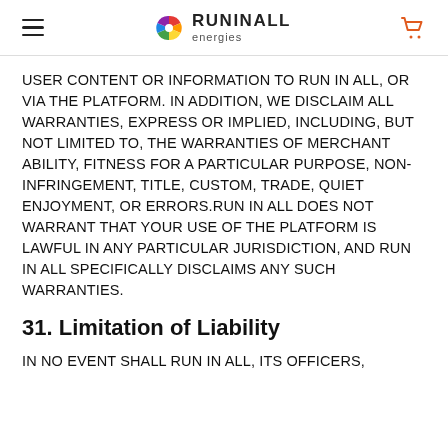RUNINALL energies
USER CONTENT OR INFORMATION TO RUN IN ALL, OR VIA THE PLATFORM. IN ADDITION, WE DISCLAIM ALL WARRANTIES, EXPRESS OR IMPLIED, INCLUDING, BUT NOT LIMITED TO, THE WARRANTIES OF MERCHANT ABILITY, FITNESS FOR A PARTICULAR PURPOSE, NON-INFRINGEMENT, TITLE, CUSTOM, TRADE, QUIET ENJOYMENT, OR ERRORS.RUN IN ALL DOES NOT WARRANT THAT YOUR USE OF THE PLATFORM IS LAWFUL IN ANY PARTICULAR JURISDICTION, AND RUN IN ALL SPECIFICALLY DISCLAIMS ANY SUCH WARRANTIES.
31. Limitation of Liability
IN NO EVENT SHALL RUN IN ALL, ITS OFFICERS,